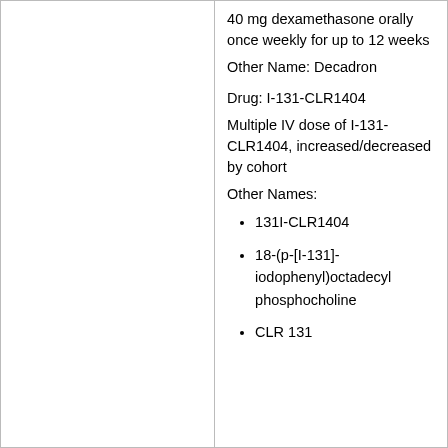40 mg dexamethasone orally once weekly for up to 12 weeks
Other Name: Decadron
Drug: I-131-CLR1404
Multiple IV dose of I-131-CLR1404, increased/decreased by cohort
Other Names:
131I-CLR1404
18-(p-[I-131]-iodophenyl)octadecyl phosphocholine
CLR 131